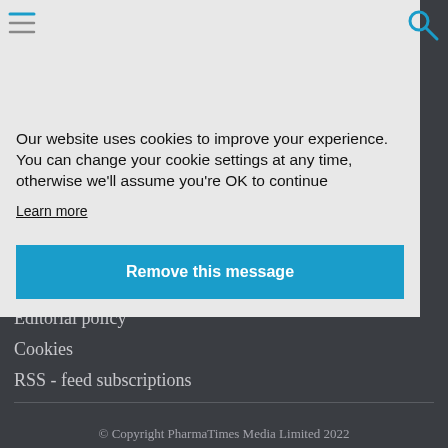Our website uses cookies to improve your experience. You can change your cookie settings at any time, otherwise we'll assume you're OK to continue
Learn more
Remove this message
Terms and Conditions
Editorial policy
Cookies
RSS - feed subscriptions
© Copyright PharmaTimes Media Limited 2022